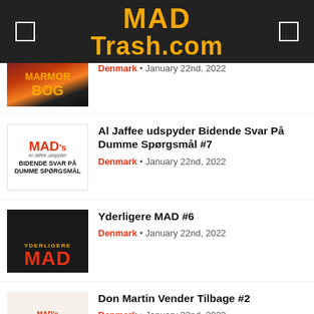MAD Trash.com
Denmark • January 22nd, 2022
Al Jaffee udspyder Bidende Svar På Dumme Spørgsmål #7
Denmark • January 22nd, 2022
Yderligere MAD #6
Denmark • January 22nd, 2022
Don Martin Vender Tilbage #2
Denmark • January 22nd, 2022
Large Custom MAD Logo
USA • January 18th, 2022